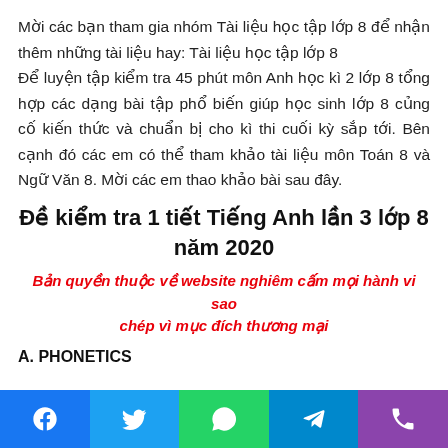Mời các bạn tham gia nhóm Tài liệu học tập lớp 8 để nhận thêm những tài liệu hay: Tài liệu học tập lớp 8
Để luyện tập kiểm tra 45 phút môn Anh học kì 2 lớp 8 tổng hợp các dạng bài tập phổ biến giúp học sinh lớp 8 củng cố kiến thức và chuẩn bị cho kì thi cuối kỳ sắp tới. Bên cạnh đó các em có thể tham khảo tài liệu môn Toán 8 và Ngữ Văn 8. Mời các em thao khảo bài sau đây.
Đề kiểm tra 1 tiết Tiếng Anh lần 3 lớp 8 năm 2020
Bản quyền thuộc về website nghiêm cấm mọi hành vi sao chép vì mục đích thương mại
A. PHONETICS